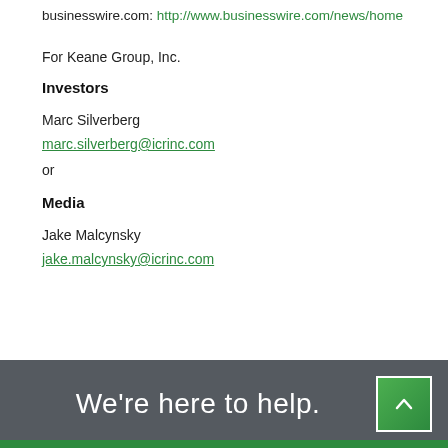businesswire.com: http://www.businesswire.com/news/home
For Keane Group, Inc.
Investors
Marc Silverberg
marc.silverberg@icrinc.com
or
Media
Jake Malcynsky
jake.malcynsky@icrinc.com
We're here to help.